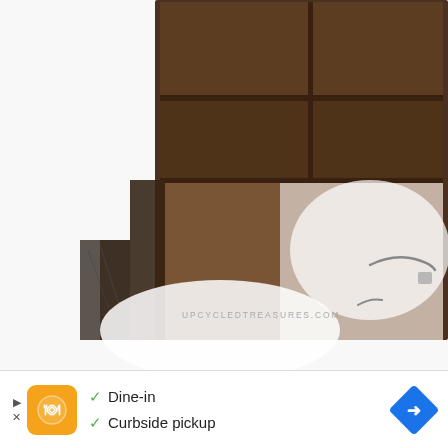[Figure (photo): Close-up photograph of a dark wooden furniture piece (likely a TV stand or console) showing open shelves with horizontal dividers and drawers with metal pull handles. The image is partially overexposed with bright light. A watermark reads UPCYCLEDTREASURES.COM.]
[Figure (screenshot): Advertisement bar at the bottom of the page showing an orange icon with a stylized design, checkmarks for 'Dine-in' and 'Curbside pickup', and a blue diamond navigation arrow on the right.]